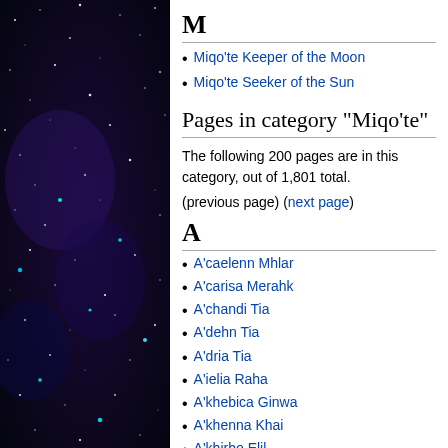[Figure (photo): Night sky / space image with dark blue-purple background and bright stars, used as decorative left panel]
M
Miqo'te Keeper of the Moon
Miqo'te Seeker of the Sun
Pages in category "Miqo'te"
The following 200 pages are in this category, out of 1,801 total.
(previous page) (next page)
A
A'caelenn Mhlar
A'carisa Merahk
A'chandi Tia
A'dehn Tia
A'dria Tia
A'ielia Raha
A'khebica Ginwa
A'khenna Khai
A'khirho Elil